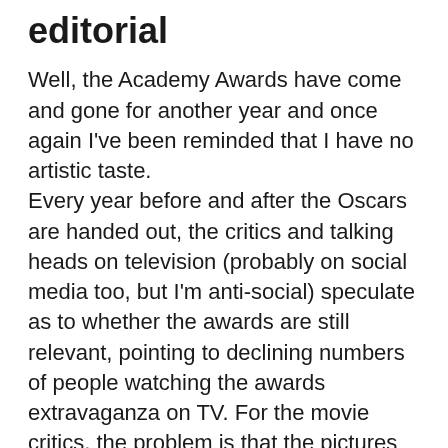editorial
Well, the Academy Awards have come and gone for another year and once again I've been reminded that I have no artistic taste.
Every year before and after the Oscars are handed out, the critics and talking heads on television (probably on social media too, but I'm anti-social) speculate as to whether the awards are still relevant, pointing to declining numbers of people watching the awards extravaganza on TV. For the movie critics, the problem is that the pictures they regard as the very best aren't rewarded when the prizes are handed out. I suspect regular people are simply worn out by being endlessly told that the movies they really like aren't worthy of consideration.
The movies that keep the movie studios humming and the movie theatres in business are spectacular portrayals of comic-book superheroes that attract